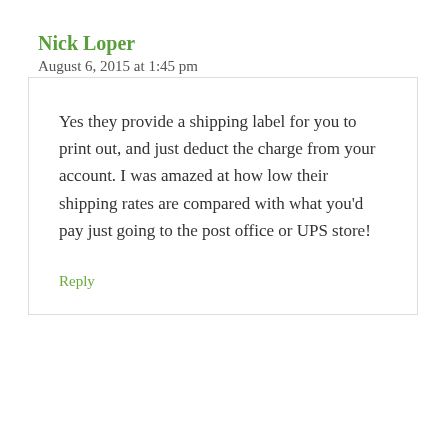Nick Loper
August 6, 2015 at 1:45 pm
Yes they provide a shipping label for you to print out, and just deduct the charge from your account. I was amazed at how low their shipping rates are compared with what you'd pay just going to the post office or UPS store!
Reply